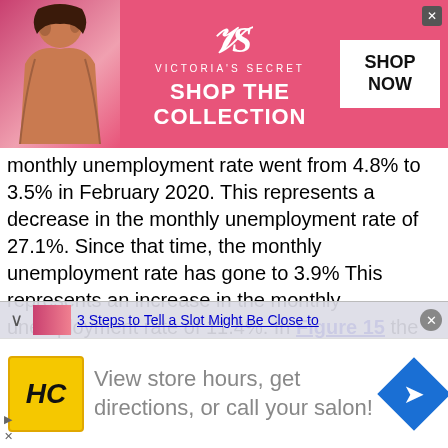[Figure (other): Victoria's Secret advertisement banner with model photo, VS logo, 'SHOP THE COLLECTION' text, and 'SHOP NOW' button]
monthly unemployment rate went from 4.8% to 3.5% in February 2020. This represents a decrease in the monthly unemployment rate of 27.1%. Since that time, the monthly unemployment rate has gone to 3.9% This represents an increase in the monthly unemployment rate of 11.4%. In Figure 15 the monthly labor force participation which are people actively looking for work are also defined as unemployed but do not include people who have given up looking for work. . It depicts that from January 2010 to before the disasterous Covid-19 virus Pandemic the monthly labor force participation went from 15,769 to 21,771 in March 2020. This represents an increase in the monthly labor force
[Figure (other): Bottom overlay ad bar with thumbnail and link '3 Steps to Tell a Slot Might Be Close to' with close button]
[Figure (other): Hair Club (HC) advertisement: 'View store hours, get directions, or call your salon!' with HC logo and navigation icon]